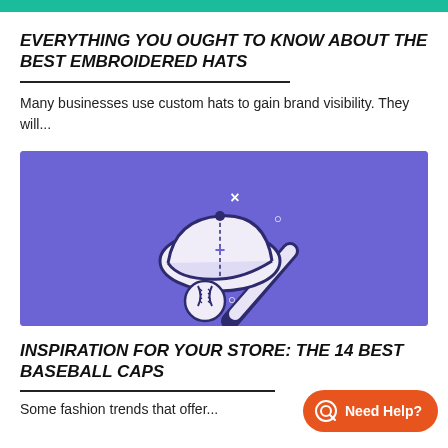EVERYTHING YOU OUGHT TO KNOW ABOUT THE BEST EMBROIDERED HATS
Many businesses use custom hats to gain brand visibility. They will...
[Figure (illustration): Purple banner with icon of a baseball cap, baseball bat, and baseball ball with decorative stars/plus symbols on purple background]
INSPIRATION FOR YOUR STORE: THE 14 BEST BASEBALL CAPS
Some fashion trends that offer...